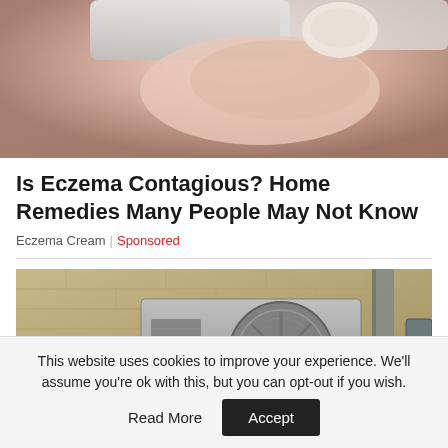[Figure (photo): Close-up photo of a hand/finger touching or pressing against a white surface, skin tones visible with pink and beige hues]
Is Eczema Contagious? Home Remedies Many People May Not Know
Eczema Cream | Sponsored
[Figure (photo): Photo of an outdoor air conditioning unit mounted on a brick wall, with cables and electrical box visible]
This website uses cookies to improve your experience. We'll assume you're ok with this, but you can opt-out if you wish.
Accept
Read More